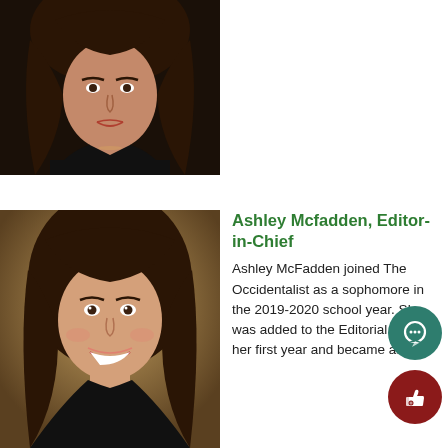[Figure (photo): Portrait photo of a young woman with long brown hair wearing a black top, cropped at shoulders, dark background]
[Figure (photo): Portrait photo of Ashley McFadden, a young woman with long brown hair and a smile, wearing a black top, warm golden-brown background]
Ashley Mcfadden, Editor-in-Chief
Ashley McFadden joined The Occidentalist as a sophomore in the 2019-2020 school year. She was added to the Editorial Board her first year and became a...